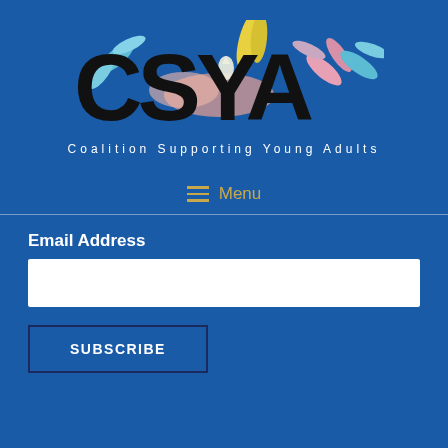[Figure (logo): CSYA Coalition Supporting Young Adults logo with colorful botanical/floral illustration overlaid on large black letters CSYA, on blue background]
≡ Menu
Email Address
SUBSCRIBE
Copyright © 2022 Coalition Supporting Young Adults - Theme by SiteOrigin